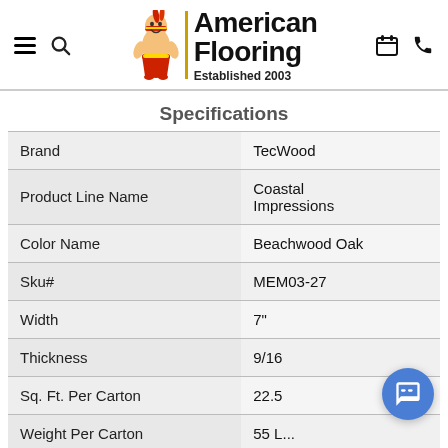[Figure (logo): American Flooring logo with Native American mascot character, vertical gold bar, company name 'American Flooring' in bold black, and 'Established 2003' subtitle]
Specifications
| Attribute | Value |
| --- | --- |
| Brand | TecWood |
| Product Line Name | Coastal Impressions |
| Color Name | Beachwood Oak |
| Sku# | MEM03-27 |
| Width | 7" |
| Thickness | 9/16 |
| Sq. Ft. Per Carton | 22.5 |
| Weight Per Carton | 55 L... |